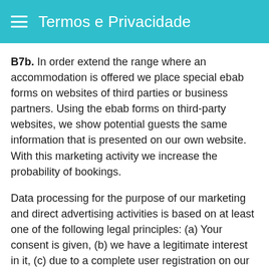Termos e Privacidade
B7b. In order extend the range where an accommodation is offered we place special ebab forms on websites of third parties or business partners. Using the ebab forms on third-party websites, we show potential guests the same information that is presented on our own website. With this marketing activity we increase the probability of bookings.
Data processing for the purpose of our marketing and direct advertising activities is based on at least one of the following legal principles: (a) Your consent is given, (b) we have a legitimate interest in it, (c) due to a complete user registration on our ebab platform, there is a (legal) relationship between you (as host) and us, (d) as a non-registered user you enter your e.mail address in a special form on our website to participate in our marketing and direct advertising activities.